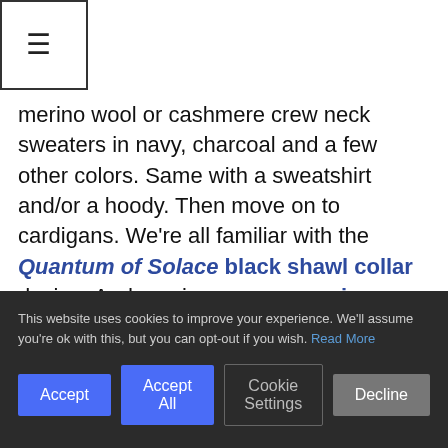[Figure (other): Hamburger menu icon: three horizontal lines inside a square border]
merino wool or cashmere crew neck sweaters in navy, charcoal and a few other colors. Same with a sweatshirt and/or a hoody. Then move on to cardigans. We're all familiar with the Quantum of Solace black shawl collar design. And one in navy or even ivory would be nice as well. Roll neck sweaters (similar to Steve McQueen's blue one from Bullitt) can also work with a variety of looks. And then we have aran knits, mock necks, V-necks … the list goes on and on.
This website uses cookies to improve your experience. We'll assume you're ok with this, but you can opt-out if you wish. Read More
Accept | Accept All | Cookie Settings | Decline